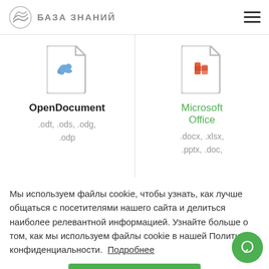БАЗА ЗНАНИЙ
[Figure (illustration): Two file format cards side by side: OpenDocument (with bird/dove icon) and Microsoft Office (with Office logo icon). OpenDocument shows .odt, .ods, .odg, .odp extensions. Microsoft Office shows .docx, .xlsx, .pptx, .doc extensions.]
OpenDocument
.odt, .ods, .odg, .odp
Microsoft Office
.docx, .xlsx, .pptx, .doc,
Мы используем файлы cookie, чтобы узнать, как лучше общаться с посетителями нашего сайта и делиться наиболее релевантной информацией. Узнайте больше о том, как мы используем файлы cookie в нашей Политике конфиденциальности. Подробнее
Понятно!
Adobe InDesign  .idml
FrameMaker  .mif